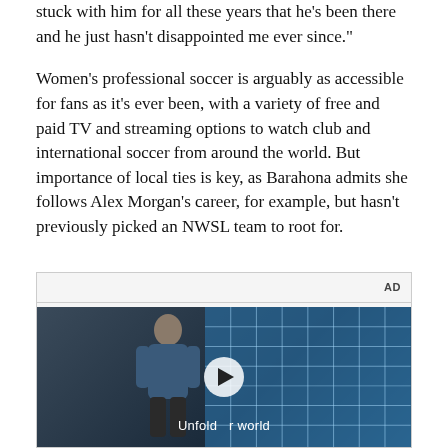stuck with him for all these years that he's been there and he just hasn't disappointed me ever since."
Women's professional soccer is arguably as accessible for fans as it's ever been, with a variety of free and paid TV and streaming options to watch club and international soccer from around the world. But importance of local ties is key, as Barahona admits she follows Alex Morgan's career, for example, but hasn't previously picked an NWSL team to root for.
[Figure (other): An advertisement video player showing a young man standing in front of a blue tiled wall, with a play button overlay and the text 'Unfold your world'. Labeled 'AD' in the top right.]